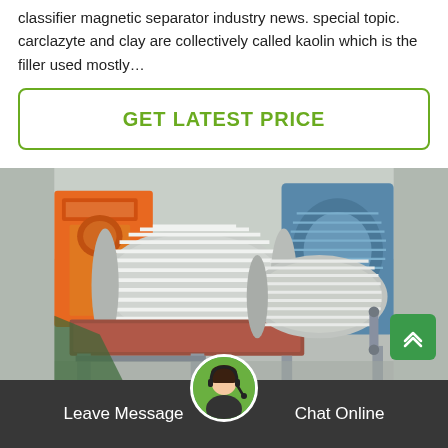classifier magnetic separator industry news. special topic. carclazyte and clay are collectively called kaolin which is the filler used mostly…
GET LATEST PRICE
[Figure (photo): Industrial magnetic separator machines in a factory setting, showing large cylindrical drum separators with ribbed surfaces in grey/beige color, with orange industrial equipment in the background]
Leave Message
Chat Online